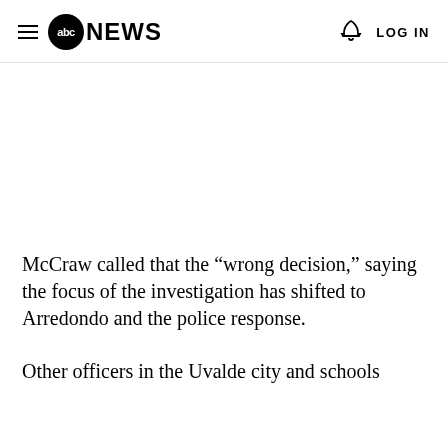abc NEWS | LOG IN
McCraw called that the “wrong decision,” saying the focus of the investigation has shifted to Arredondo and the police response.
Other officers in the Uvalde city and schools